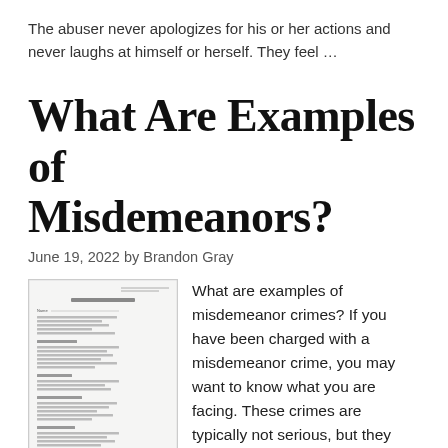The abuser never apologizes for his or her actions and never laughs at himself or herself. They feel …
What Are Examples of Misdemeanors?
June 19, 2022 by Brandon Gray
[Figure (photo): A scanned legal document with small printed text, partially visible]
What are examples of misdemeanor crimes? If you have been charged with a misdemeanor crime, you may want to know what you are facing. These crimes are typically not serious, but they may result in loss of civil rights. These are often called collateral consequences of criminal charges and occur more often when misdemeanor crimes are committed
collateral consequences of criminal charges and occur more often when misdemeanor crimes are committed